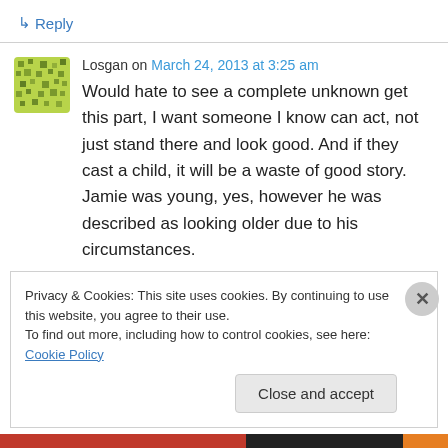↳ Reply
Losgan on March 24, 2013 at 3:25 am
Would hate to see a complete unknown get this part, I want someone I know can act, not just stand there and look good. And if they cast a child, it will be a waste of good story. Jamie was young, yes, however he was described as looking older due to his circumstances.
Privacy & Cookies: This site uses cookies. By continuing to use this website, you agree to their use.
To find out more, including how to control cookies, see here: Cookie Policy
Close and accept